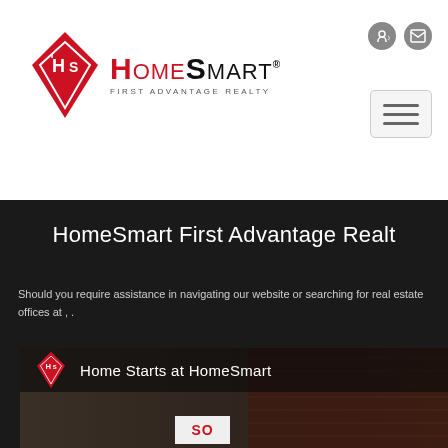[Figure (logo): HomeSmart First Advantage Realty logo with red diamond icon and text]
HomeSmart First Advantage Realt
Should you require assistance in navigating our website or searching for real estate offices at , .
[Figure (screenshot): HomeSmart video thumbnail showing 'Home Starts at HomeSmart' with red diamond logo, house with brick wall and SOLD sign in background]